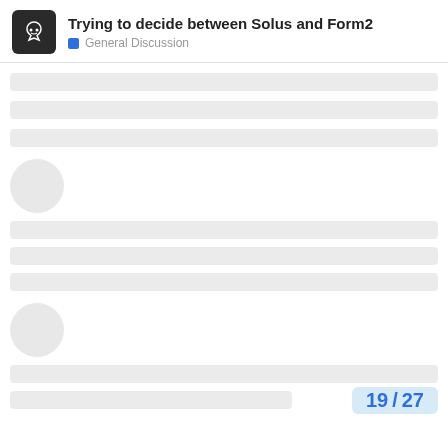Trying to decide between Solus and Form2 — General Discussion
[Figure (screenshot): Forum thread page showing a loading/skeleton state with grey placeholder bars and avatar circles, and a pagination indicator showing 19/27 in the bottom right corner.]